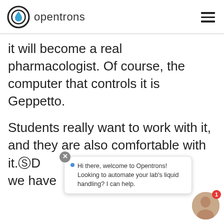opentrons
it will become a real pharmacologist. Of course, the computer that controls it is Geppetto.
Students really want to work with it, and they are also comfortable with it. D[...] r, we have [...]
Hi there, welcome to Opentrons! Looking to automate your lab's liquid handling? I can help.